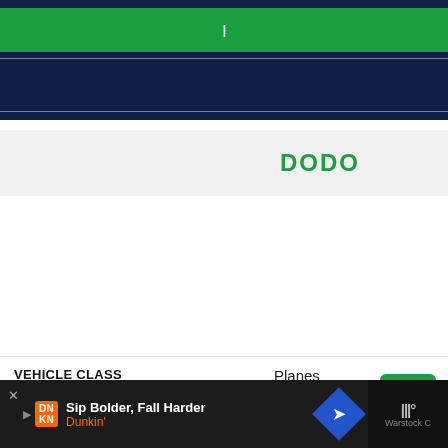[Figure (screenshot): Top dark navy banner with a green horizontal bar inside a white-bordered rectangle]
|  | DODO | VOLATO |
| --- | --- | --- |
| VEHICLE CLASS | Planes | Planes |
| MANUFACTURER | Mammoth |  |
| SEATS / CAPACITY | 4 seats | 4 seats |
Sip Bolder, Fall Harder — Dunkin' (advertisement)